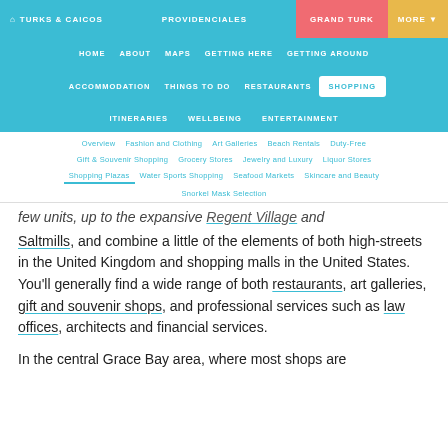TURKS & CAICOS | PROVIDENCIALES | GRAND TURK | MORE
HOME | ABOUT | MAPS | GETTING HERE | GETTING AROUND
ACCOMMODATION | THINGS TO DO | RESTAURANTS | SHOPPING
ITINERARIES | WELLBEING | ENTERTAINMENT
Overview | Fashion and Clothing | Art Galleries | Beach Rentals | Duty-Free | Gift & Souvenir Shopping | Grocery Stores | Jewelry and Luxury | Liquor Stores | Shopping Plazas | Water Sports Shopping | Seafood Markets | Skincare and Beauty | Snorkel Mask Selection
few units, up to the expansive Regent Village and Saltmills, and combine a little of the elements of both high-streets in the United Kingdom and shopping malls in the United States. You'll generally find a wide range of both restaurants, art galleries, gift and souvenir shops, and professional services such as law offices, architects and financial services.

In the central Grace Bay area, where most shops are